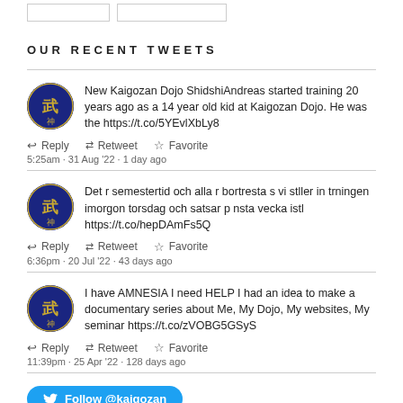OUR RECENT TWEETS
New Kaigozan Dojo ShidshiAndreas started training 20 years ago as a 14 year old kid at Kaigozan Dojo. He was the https://t.co/5YEvlXbLy8
Reply  Retweet  Favorite
5:25am - 31 Aug '22 - 1 day ago
Det r semestertid och alla r bortresta s vi stller in trningen imorgon torsdag och satsar p nsta vecka istl https://t.co/hepDAmFs5Q
Reply  Retweet  Favorite
6:36pm - 20 Jul '22 - 43 days ago
I have AMNESIA I need HELP I had an idea to make a documentary series about Me, My Dojo, My websites, My seminar https://t.co/zVOBG5GSyS
Reply  Retweet  Favorite
11:39pm - 25 Apr '22 - 128 days ago
Follow @kaigozan